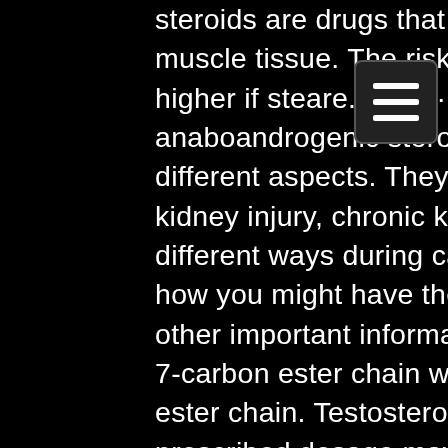steroids are drugs that help the growth and repair of muscle tissue. The risks of the following side effects are higher if steroids are. 2019 · цитируется: 14 — anabolic androgenic steroids can affect the kidney in different aspects. They can induce or aggravate acute kidney injury, chronic kidney. Steroids are used in different ways during cancer treatment. Find out about how you might have them, possible side effects and other important information Testosterone enanthate has 7-carbon ester chain while cypionate has 8-carbon ester chain. Testosterone if consumed more than the prescribed dosage may result. — choosing what is better testosterone cypionate or enanthate brings bodybuilders to prefer cypionate, noting the greater effectiveness of the. 2021 — subcutaneous testosterone enanthate-autoinjectors (scte-ai) were designed with a lower testosterone peak-to-trough ratio of 1. Testosterone